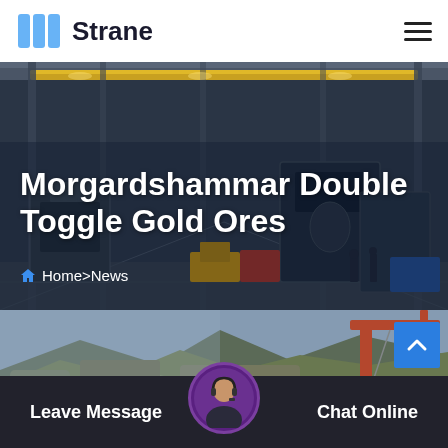Strane
Morgardshammar Double Toggle Gold Ores
Home > News
[Figure (photo): Industrial facility interior showing heavy machinery, overhead cranes and equipment in a large warehouse/factory hall]
[Figure (photo): Outdoor mining site with rocky terrain and crane machinery visible]
Leave Message
Chat Online